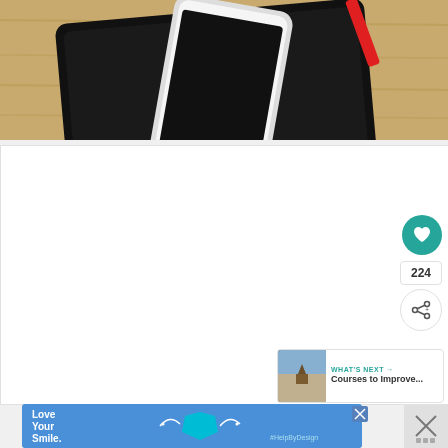[Figure (photo): A black tablet and white smartphone placed on a wooden surface, with a red pen visible in the upper right corner]
[Figure (screenshot): White content area (article body, mostly blank) with a teal heart/like button showing 224 likes, a share button, and a 'What's Next' recommendation panel showing 'Courses to Improve...' with a landscape thumbnail]
[Figure (photo): Advertisement banner with blue background showing 'Love Your Smile.' text and a teal hexagon graphic with '#HelpByDesign' hashtag, with close buttons]